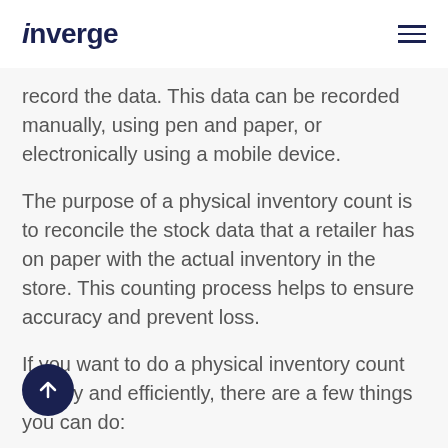inverge
record the data. This data can be recorded manually, using pen and paper, or electronically using a mobile device.
The purpose of a physical inventory count is to reconcile the stock data that a retailer has on paper with the actual inventory in the store. This counting process helps to ensure accuracy and prevent loss.
If you want to do a physical inventory count quickly and efficiently, there are a few things you can do: